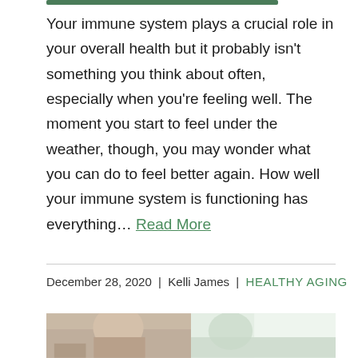Your immune system plays a crucial role in your overall health but it probably isn't something you think about often, especially when you're feeling well. The moment you start to feel under the weather, though, you may wonder what you can do to feel better again. How well your immune system is functioning has everything... Read More
December 28, 2020 | Kelli James | HEALTHY AGING
[Figure (photo): Two side-by-side photos partially visible at bottom of page: left photo shows a person in a warm-toned interior setting, right photo shows a lighter, brighter scene possibly near a window.]